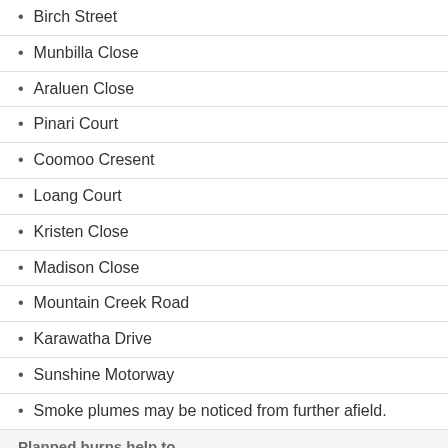Birch Street
Munbilla Close
Araluen Close
Pinari Court
Coomoo Cresent
Loang Court
Kristen Close
Madison Close
Mountain Creek Road
Karawatha Drive
Sunshine Motorway
Smoke plumes may be noticed from further afield.
Planned burns help to
reduce the amount of fuel on the ground before bushfire season
lessen the intensity of any subsequent wildfires
plant species to survive that rely on fire to regenerate.
Community safety